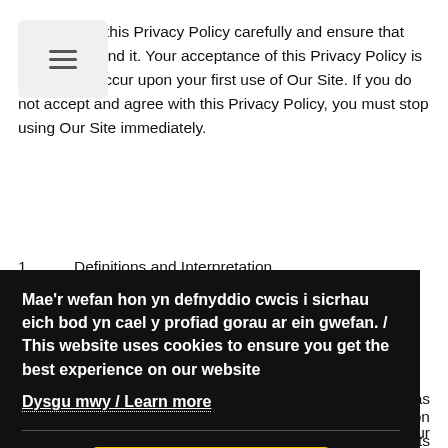Please read this Privacy Policy carefully and ensure that you understand it. Your acceptance of this Privacy Policy is deemed to occur upon your first use of Our Site. If you do not accept and agree with this Privacy Policy, you must stop using Our Site immediately.
1.        Definitions and Interpretation
In this Policy the following terms shall have the following
Mae'r wefan hon yn defnyddio cwcis i sicrhau eich bod yn cael y profiad gorau ar ein gwefan. / This website uses cookies to ensure you get the best experience on our website
Dysgu mwy / Learn more
Cytuno / Agree
Site when you visit certain parts